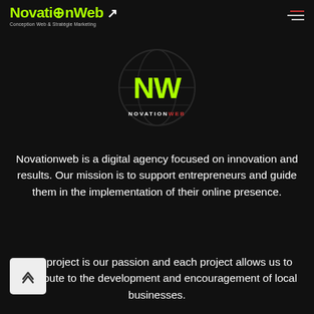NovationWeb — Conception Web & Stratégie Marketing
[Figure (logo): NovationWeb logo: globe outline with NW in bright green and NOVATIONWEB text below]
Novationweb is a digital agency focused on innovation and results. Our mission is to support entrepreneurs and guide them in the implementation of their online presence.
Your project is our passion and each project allows us to contribute to the development and encouragement of local businesses.